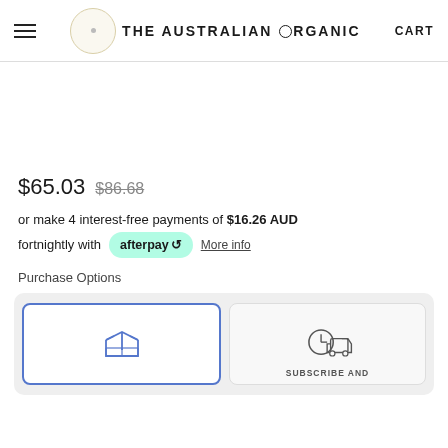THE AUSTRALIAN ORGANIC — CART
$65.03  $86.68
or make 4 interest-free payments of $16.26 AUD fortnightly with afterpay  More info
Purchase Options
[Figure (illustration): Two purchase option cards: left card selected with blue border showing an open box icon; right card unselected showing a delivery truck with clock icon and label SUBSCRIBE AND]
SUBSCRIBE AND